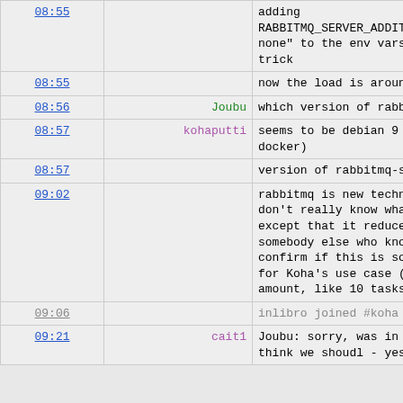| Time | User | Message |
| --- | --- | --- |
| 08:55 |  | adding RABBITMQ_SERVER_ADDITIONA... none" to the env vars se... trick |
| 08:55 |  | now the load is around 1... |
| 08:56 | Joubu | which version of rabbitmq... |
| 08:57 | kohaputti | seems to be debian 9 (fr... docker) |
| 08:57 |  | version of rabbitmq-serve... |
| 09:02 |  | rabbitmq is new technolo... don't really know what "... except that it reduces t... somebody else who knows ... confirm if this is somet... for Koha's use case (pro... amount, like 10 tasks, i... |
| 09:06 |  | inlibro joined #koha |
| 09:21 | cait1 | Joubu: sorry, was in a v... think we shoudl - yes |